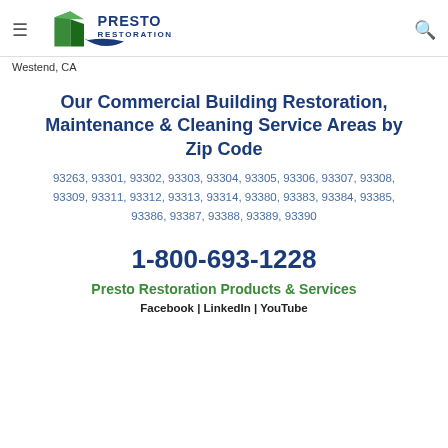Presto Restoration — hamburger menu, logo, search icon
Westend, CA
Our Commercial Building Restoration, Maintenance & Cleaning Service Areas by Zip Code
93263, 93301, 93302, 93303, 93304, 93305, 93306, 93307, 93308, 93309, 93311, 93312, 93313, 93314, 93380, 93383, 93384, 93385, 93386, 93387, 93388, 93389, 93390
1-800-693-1228
Presto Restoration Products & Services
Facebook | LinkedIn | YouTube